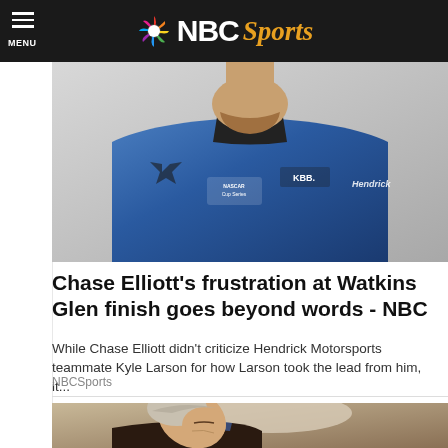NBC Sports
[Figure (photo): NASCAR driver Chase Elliott in blue Hendrick Motorsports racing suit with KBB and Hendrick logos, cropped to show chest and face partially]
Chase Elliott's frustration at Watkins Glen finish goes beyond words - NBC
While Chase Elliott didn't criticize Hendrick Motorsports teammate Kyle Larson for how Larson took the lead from him, it...
NBCSports
[Figure (photo): Elderly man sleeping in a chair, head drooped to one side, wearing glasses and dark sweater]